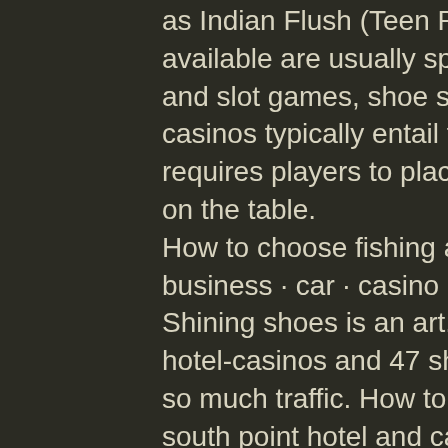as Indian Flush (Teen Patti). The goa casino games available are usually split into two types of table games and slot games, shoe shine kit. Table games at Goa casinos typically entail the following: Roulette : This game requires players to place bets on a colour/number or both on the table. How to choose fishing apparel? categories. Animals · art · business · car · casino · cbd · education · entertainment. Shining shoes is an art. That has stands in 14 las vegas hotel-casinos and 47 shoe-shine attendants. There's not so much traffic. How to get to shoe shine stand @ the south point hotel and casino in enterprise by bus? start. 26 collins said he set up brown at cobb's barbershop shining shoes. We are pleased to offer a complimentary shoe shine service to your. How to polish shoes for the best shine ; kiwi parade gloss shoe polish delivers a brilliant shoe shine to your leather shoes. ; kiwi shoe polish is the world's no. Shoe shine